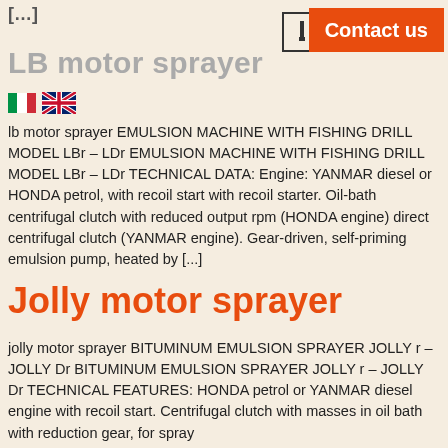[…]
LB motor sprayer
[Figure (other): Italian and UK flag icons]
lb motor sprayer EMULSION MACHINE WITH FISHING DRILL MODEL LBr – LDr EMULSION MACHINE WITH FISHING DRILL MODEL LBr – LDr TECHNICAL DATA: Engine: YANMAR diesel or HONDA petrol, with recoil start with recoil starter. Oil-bath centrifugal clutch with reduced output rpm (HONDA engine) direct centrifugal clutch (YANMAR engine). Gear-driven, self-priming emulsion pump, heated by [...]
Jolly motor sprayer
jolly motor sprayer BITUMINUM EMULSION SPRAYER JOLLY r – JOLLY Dr BITUMINUM EMULSION SPRAYER JOLLY r – JOLLY Dr TECHNICAL FEATURES: HONDA petrol or YANMAR diesel engine with recoil start. Centrifugal clutch with masses in oil bath with reduction gear, for spray